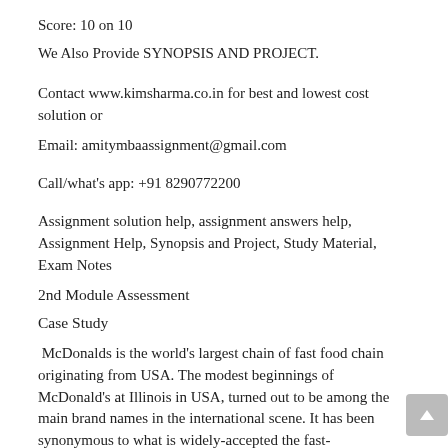Score: 10 on 10
We Also Provide SYNOPSIS AND PROJECT.
Contact www.kimsharma.co.in for best and lowest cost solution or
Email: amitymbaassignment@gmail.com
Call/what's app: +91 8290772200
Assignment solution help, assignment answers help, Assignment Help, Synopsis and Project, Study Material, Exam Notes
2nd Module Assessment
Case Study
McDonalds is the world's largest chain of fast food chain originating from USA. The modest beginnings of McDonald's at Illinois in USA, turned out to be among the main brand names in the international scene. It has been synonymous to what is widely-accepted the fast-